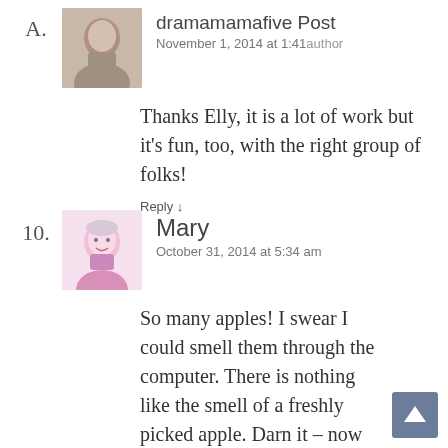A. dramamamafive Post
November 1, 2014 at 1:41 am author
Thanks Elly, it is a lot of work but it's fun, too, with the right group of folks!
Reply ↓
10. Mary
October 31, 2014 at 5:34 am
So many apples! I swear I could smell them through the computer. There is nothing like the smell of a freshly picked apple. Darn it – now I'm hungry. I loved reading about the cider making process.